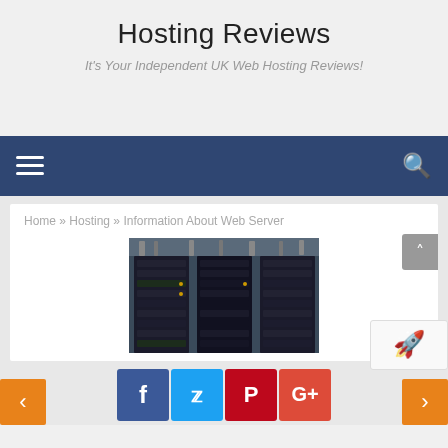Hosting Reviews
It's Your Independent UK Web Hosting Reviews!
[Figure (screenshot): Navigation bar with hamburger menu icon on left and search icon on right, dark navy blue background]
Home » Hosting » Information About Web Server
[Figure (photo): Data center server racks with dark server units, overhead cabling and lighting]
[Figure (infographic): Social share buttons: Facebook (blue), Twitter (light blue), Pinterest (red), Google+ (red-orange)]